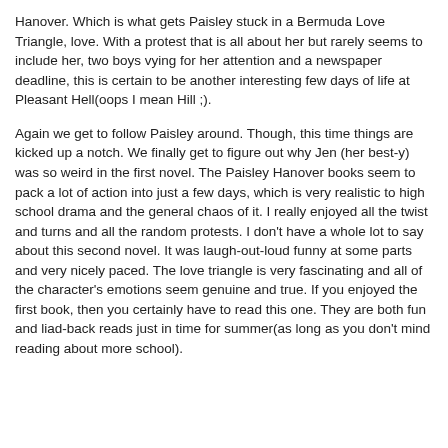Hanover. Which is what gets Paisley stuck in a Bermuda Love Triangle, love. With a protest that is all about her but rarely seems to include her, two boys vying for her attention and a newspaper deadline, this is certain to be another interesting few days of life at Pleasant Hell(oops I mean Hill ;).
Again we get to follow Paisley around. Though, this time things are kicked up a notch. We finally get to figure out why Jen (her best-y) was so weird in the first novel. The Paisley Hanover books seem to pack a lot of action into just a few days, which is very realistic to high school drama and the general chaos of it. I really enjoyed all the twist and turns and all the random protests. I don't have a whole lot to say about this second novel. It was laugh-out-loud funny at some parts and very nicely paced. The love triangle is very fascinating and all of the character's emotions seem genuine and true. If you enjoyed the first book, then you certainly have to read this one. They are both fun and liad-back reads just in time for summer(as long as you don't mind reading about more school).